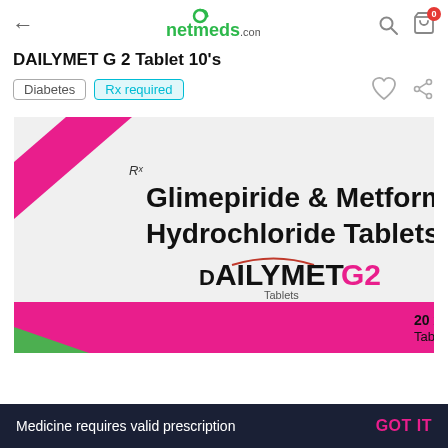netmeds.com
DAILYMET G 2 Tablet 10's
Diabetes   Rx required
[Figure (photo): Product photo of DAILYMET G2 Tablet box — Glimepiride & Metformin Hydrochloride Tablets, 20 x 10 Tablets, by Prevego healthcare & research]
Medicine requires valid prescription   GOT IT